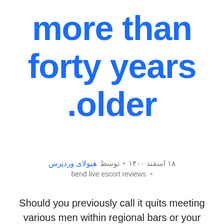more than forty years .older
۱۸ اسفند ۱۴۰۰ • توسط هیولای وردپرس • bend live escort reviews •
Should you previously call it quits meeting various men within regional bars or your process, then there's the possibility which prospected a relationship partner is restricted on the little personal group. If you have